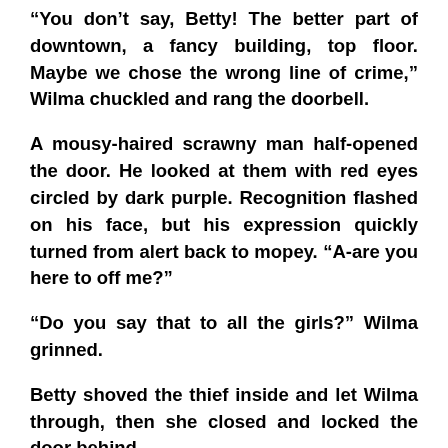“You don’t say, Betty! The better part of downtown, a fancy building, top floor. Maybe we chose the wrong line of crime,” Wilma chuckled and rang the doorbell.
A mousy-haired scrawny man half-opened the door. He looked at them with red eyes circled by dark purple. Recognition flashed on his face, but his expression quickly turned from alert back to mopey. “A-are you here to off me?”
“Do you say that to all the girls?” Wilma grinned.
Betty shoved the thief inside and let Wilma through, then she closed and locked the door behind